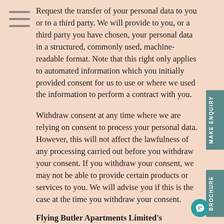[Figure (other): Hamburger menu icon with three horizontal lines]
Request the transfer of your personal data to you or to a third party. We will provide to you, or a third party you have chosen, your personal data in a structured, commonly used, machine-readable format. Note that this right only applies to automated information which you initially provided consent for us to use or where we used the information to perform a contract with you.
Withdraw consent at any time where we are relying on consent to process your personal data. However, this will not affect the lawfulness of any processing carried out before you withdraw your consent. If you withdraw your consent, we may not be able to provide certain products or services to you. We will advise you if this is the case at the time you withdraw your consent.
Flying Butler Apartments Limited's
MAKE ENQUIRY
BROCHURE